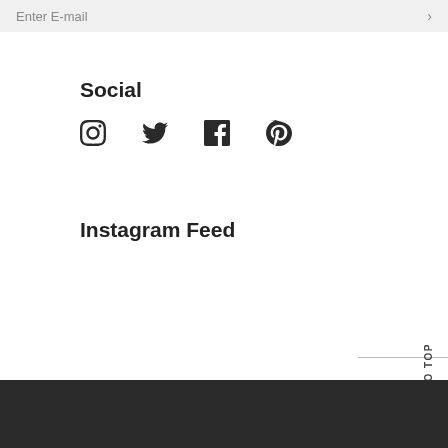Enter E-mail >
Social
[Figure (illustration): Four social media icons: Instagram camera icon, Twitter bird icon, Facebook 'f' icon, Pinterest 'p' icon]
Instagram Feed
Back to Top